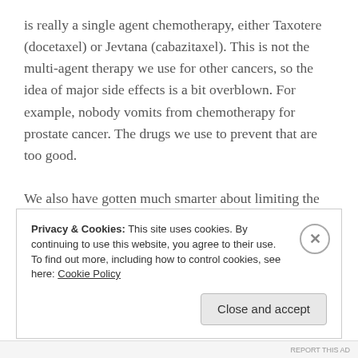is really a single agent chemotherapy, either Taxotere (docetaxel) or Jevtana (cabazitaxel). This is not the multi-agent therapy we use for other cancers, so the idea of major side effects is a bit overblown. For example, nobody vomits from chemotherapy for prostate cancer. The drugs we use to prevent that are too good.

We also have gotten much smarter about limiting the number of doses we use. We don't necessarily give chemotherapy until it doesn't work anymore. Often, we just give several doses and then take a break. If you get more than a couple doses of chemotherapy, you will still
Privacy & Cookies: This site uses cookies. By continuing to use this website, you agree to their use.
To find out more, including how to control cookies, see here: Cookie Policy
Close and accept
REPORT THIS AD